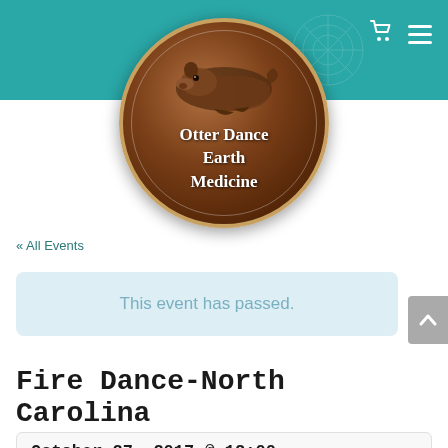[Figure (logo): Otter Dance Earth Medicine circular logo with brown leather-textured background and otter illustration, white serif text reading 'Otter Dance Earth Medicine']
« All Events
This event has passed.
Fire Dance-North Carolina
October 27, 2017 @ 12:00 pm - October 29, 2017 @